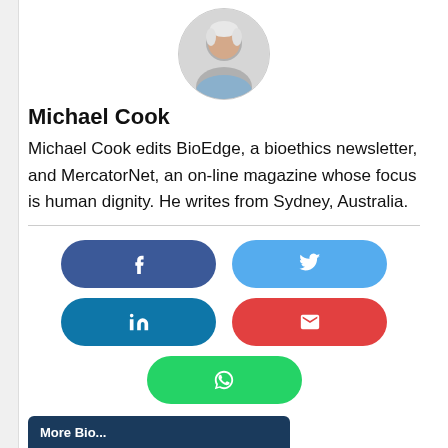[Figure (photo): Circular headshot photo of Michael Cook, an older man with white/grey hair wearing a blue shirt, on a light grey background.]
Michael Cook
Michael Cook edits BioEdge, a bioethics newsletter, and MercatorNet, an on-line magazine whose focus is human dignity. He writes from Sydney, Australia.
[Figure (infographic): Social share buttons row: Facebook (dark blue), Twitter (light blue), LinkedIn (teal blue), Email (red), WhatsApp (green).]